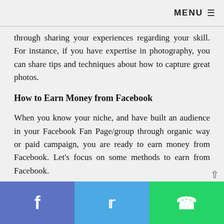MENU ≡
through sharing your experiences regarding your skill. For instance, if you have expertise in photography, you can share tips and techniques about how to capture great photos.
How to Earn Money from Facebook
When you know your niche, and have built an audience in your Facebook Fan Page/group through organic way or paid campaign, you are ready to earn money from Facebook. Let's focus on some methods to earn from Facebook.
Selling Products/Services/Skill through Facebook